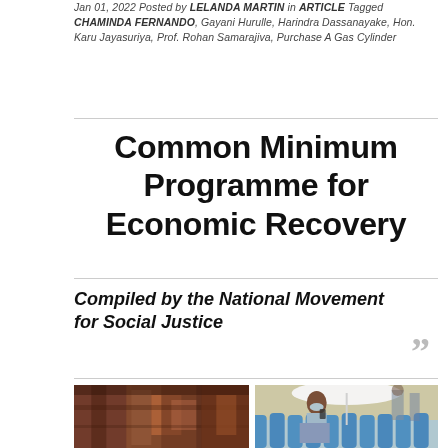Jan 01, 2022 Posted by LELANDA MARTIN in ARTICLE Tagged CHAMINDA FERNANDO, Gayani Hurulle, Harindra Dassanayake, Hon. Karu Jayasuriya, Prof. Rohan Samarajiva, Purchase A Gas Cylinder
Common Minimum Programme for Economic Recovery
Compiled by the National Movement for Social Justice
[Figure (photo): Two side-by-side photographs: left shows a rusty red/orange metal surface with peeling paint; right shows a woman wearing a face mask looking at a phone while seated near a row of blue gas cylinders.]